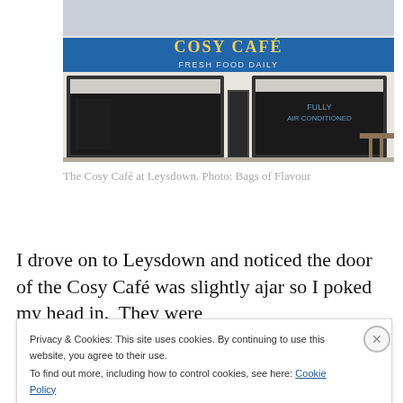[Figure (photo): Exterior photo of the Cosy Café at Leysdown, showing a shopfront with a blue sign reading 'COSY CAFE FRESH FOOD DAILY' and windows with menus and curtains.]
The Cosy Café at Leysdown. Photo: Bags of Flavour
I drove on to Leysdown and noticed the door of the Cosy Café was slightly ajar so I poked my head in.  They were
Privacy & Cookies: This site uses cookies. By continuing to use this website, you agree to their use.
To find out more, including how to control cookies, see here: Cookie Policy